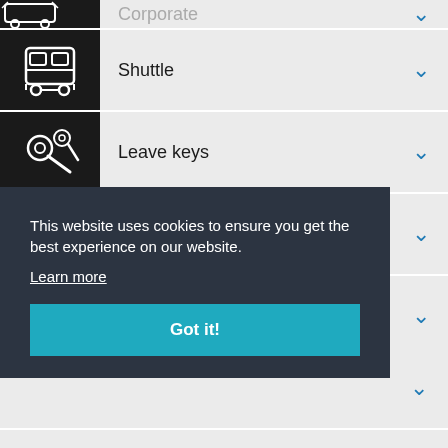Corporate
Shuttle
Leave keys
Prebook
Trav. agent
This website uses cookies to ensure you get the best experience on our website. Learn more
Got it!